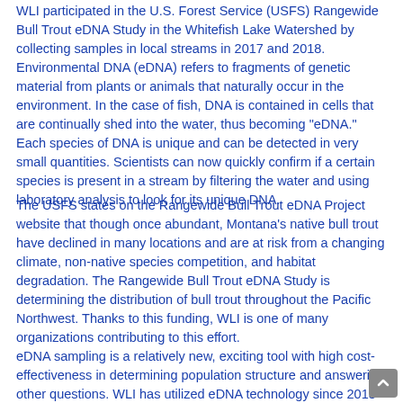WLI participated in the U.S. Forest Service (USFS) Rangewide Bull Trout eDNA Study in the Whitefish Lake Watershed by collecting samples in local streams in 2017 and 2018. Environmental DNA (eDNA) refers to fragments of genetic material from plants or animals that naturally occur in the environment. In the case of fish, DNA is contained in cells that are continually shed into the water, thus becoming "eDNA." Each species of DNA is unique and can be detected in very small quantities. Scientists can now quickly confirm if a certain species is present in a stream by filtering the water and using laboratory analysis to look for its unique DNA.
The USFS states on the Rangewide Bull Trout eDNA Project website that though once abundant, Montana's native bull trout have declined in many locations and are at risk from a changing climate, non-native species competition, and habitat degradation. The Rangewide Bull Trout eDNA Study is determining the distribution of bull trout throughout the Pacific Northwest. Thanks to this funding, WLI is one of many organizations contributing to this effort.
eDNA sampling is a relatively new, exciting tool with high cost-effectiveness in determining population structure and answering other questions. WLI has utilized eDNA technology since 2013 as it relates to determining presence/absence of aquatic invasive species